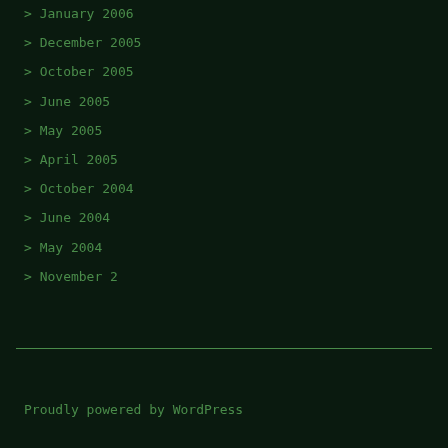> January 2006
> December 2005
> October 2005
> June 2005
> May 2005
> April 2005
> October 2004
> June 2004
> May 2004
> November 2
Proudly powered by WordPress